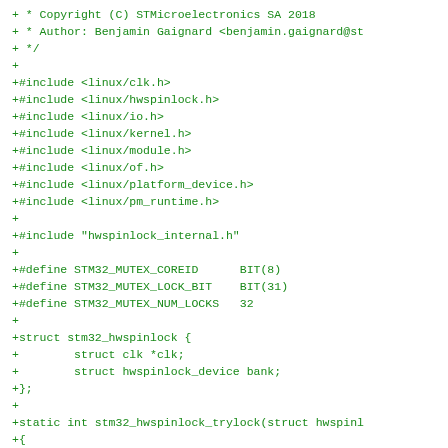+ * Copyright (C) STMicroelectronics SA 2018
+ * Author: Benjamin Gaignard <benjamin.gaignard@st
+ */
+
+#include <linux/clk.h>
+#include <linux/hwspinlock.h>
+#include <linux/io.h>
+#include <linux/kernel.h>
+#include <linux/module.h>
+#include <linux/of.h>
+#include <linux/platform_device.h>
+#include <linux/pm_runtime.h>
+
+#include "hwspinlock_internal.h"
+
+#define STM32_MUTEX_COREID      BIT(8)
+#define STM32_MUTEX_LOCK_BIT    BIT(31)
+#define STM32_MUTEX_NUM_LOCKS   32
+
+struct stm32_hwspinlock {
+        struct clk *clk;
+        struct hwspinlock_device bank;
+};
+
+static int stm32_hwspinlock_trylock(struct hwspinl
+{
+        void __iomem *lock_addr = lock->priv;
+        u32 status;
+
+        writel(STM32_MUTEX_LOCK_BIT | STM32_MUTEX_C